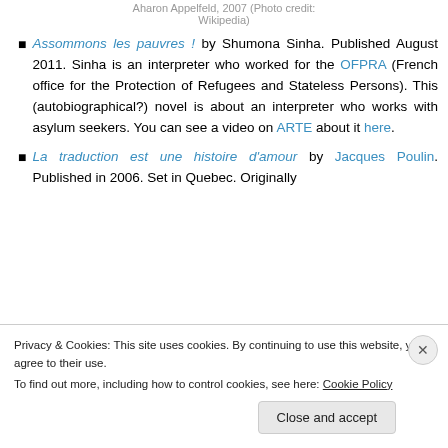Aharon Appelfeld, 2007 (Photo credit: Wikipedia)
Assommons les pauvres ! by Shumona Sinha. Published August 2011. Sinha is an interpreter who worked for the OFPRA (French office for the Protection of Refugees and Stateless Persons). This (autobiographical?) novel is about an interpreter who works with asylum seekers. You can see a video on ARTE about it here.
La traduction est une histoire d'amour by Jacques Poulin. Published in 2006. Set in Quebec. Originally
Privacy & Cookies: This site uses cookies. By continuing to use this website, you agree to their use.
To find out more, including how to control cookies, see here: Cookie Policy